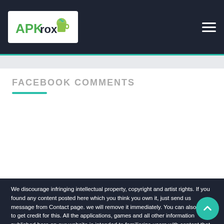APKrox
FACEBOOK COMMENTS
We discourage infringing intellectual property, copyright and artist rights. If you found any content posted here which you think you own it, just send us message from Contact page. we will remove it immediately. You can also ask to get credit for this. All the applications, games and all other information published here on our website is intended to familiarize users with content that may be of interest to them.